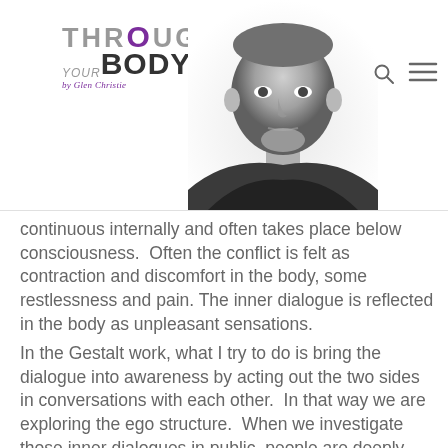THROUGH YOUR BODY by Glen Christie — website header with logo and photo
continuous internally and often takes place below consciousness.  Often the conflict is felt as contraction and discomfort in the body, some restlessness and pain. The inner dialogue is reflected in the body as unpleasant sensations.
In the Gestalt work, what I try to do is bring the dialogue into awareness by acting out the two sides in conversations with each other.  In that way we are exploring the ego structure.  When we investigate those inner dialogues in public, people are deeply affected.  At a meditation